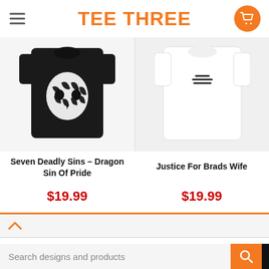TEE THREE
[Figure (photo): Dark t-shirt with zebra skull graphic design]
Seven Deadly Sins – Dragon Sin Of Pride
$19.99
[Figure (photo): White t-shirt product photo]
Justice For Brads Wife
$19.99
Shipping & Return & Return Policy
Search designs and products